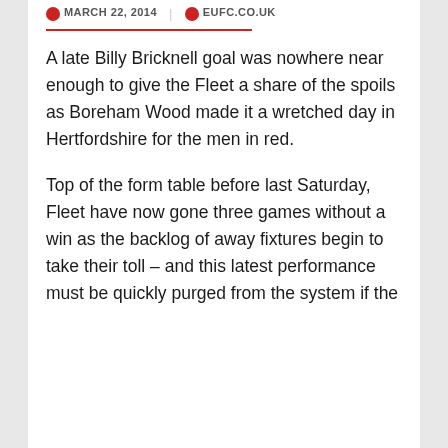MARCH 22, 2014 | EUFC.CO.UK
A late Billy Bricknell goal was nowhere near enough to give the Fleet a share of the spoils as Boreham Wood made it a wretched day in Hertfordshire for the men in red.
Top of the form table before last Saturday, Fleet have now gone three games without a win as the backlog of away fixtures begin to take their toll – and this latest performance must be quickly purged from the system if the